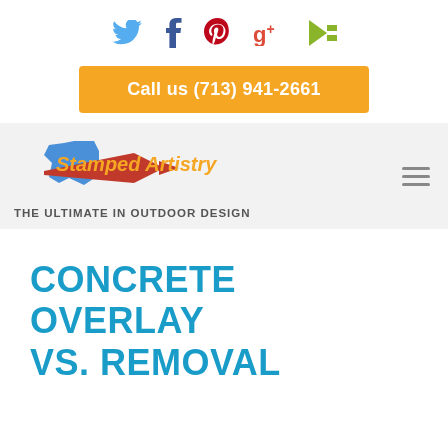[Figure (other): Social media icons: Twitter (bird), Facebook (f), Pinterest (p), Google+ (g+), Hatchbuck (arrow icon)]
Call us (713) 941-2661
[Figure (logo): Stamped Artistry logo with Texas shape in blue, red swoosh arrow, yellow text 'Stamped Artistry', tagline 'THE ULTIMATE IN OUTDOOR DESIGN']
CONCRETE OVERLAY VS. REMOVAL